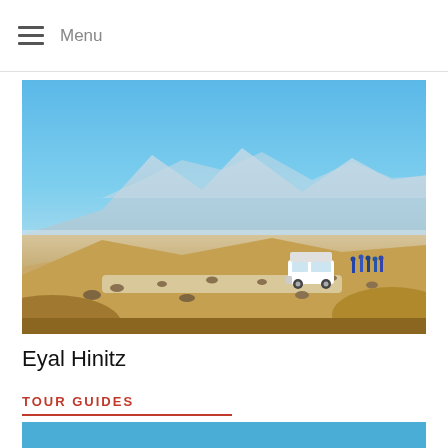Menu
[Figure (photo): Desert landscape with sandy terrain, scattered rocks, a white 4x4 jeep, a group of people standing on a ridge, and blue sky with mountains in the background]
Eyal Hinitz
TOUR GUIDES
[Figure (photo): Blue sky / partial image at bottom of page, likely the top of another photo card]